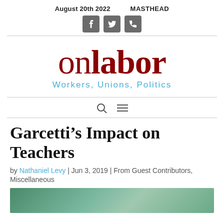August 20th 2022   MASTHEAD
[Figure (other): Social media icons: Facebook, Twitter, RSS feed]
onlabor — Workers, Unions, Politics
[Figure (other): Search and menu navigation icons]
Garcetti's Impact on Teachers
by Nathaniel Levy | Jun 3, 2019 | From Guest Contributors, Miscellaneous
[Figure (photo): Thumbnail image of article, partially visible at page bottom]